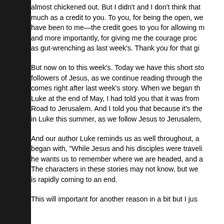almost chickened out. But I didn't and I don't think that much as a credit to you. To you, for being the open, we have been to me—the credit goes to you for allowing m and more importantly, for giving me the courage proc as gut-wrenching as last week's. Thank you for that gi
But now on to this week's. Today we have this short st followers of Jesus, as we continue reading through the comes right after last week's story. When we began th Luke at the end of May, I had told you that it was from Road to Jerusalem. And I told you that because it's the in Luke this summer, as we follow Jesus to Jerusalem,
And our author Luke reminds us as well throughout, a began with, "While Jesus and his disciples were traveli he wants us to remember where we are headed, and a The characters in these stories may not know, but we is rapidly coming to an end.
This will important for another reason in a bit but I jus